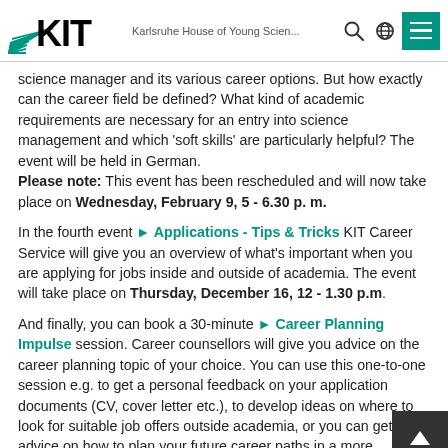KIT – Karlsruhe House of Young Scien...
science manager and its various career options. But how exactly can the career field be defined? What kind of academic requirements are necessary for an entry into science management and which 'soft skills' are particularly helpful? The event will be held in German.
Please note: This event has been rescheduled and will now take place on Wednesday, February 9, 5 - 6.30 p. m.
In the fourth event ▶ Applications - Tips & Tricks KIT Career Service will give you an overview of what's important when you are applying for jobs inside and outside of academia. The event will take place on Thursday, December 16, 12 - 1.30 p.m.
And finally, you can book a 30-minute ▶ Career Planning Impulse session. Career counsellors will give you advice on the career planning topic of your choice. You can use this one-to-one session e.g. to get a personal feedback on your application documents (CV, cover letter etc.), to develop ideas on where to look for suitable job offers outside academia, or you can get first advice on how to plan your future career paths in a more